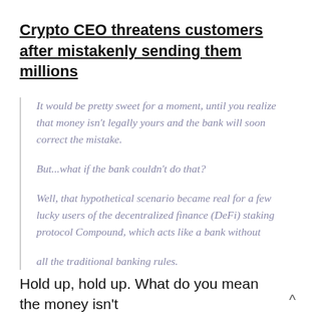Crypto CEO threatens customers after mistakenly sending them millions
It would be pretty sweet for a moment, until you realize that money isn't legally yours and the bank will soon correct the mistake.

But...what if the bank couldn't do that?

Well, that hypothetical scenario became real for a few lucky users of the decentralized finance (DeFi) staking protocol Compound, which acts like a bank without all the traditional banking rules.
Hold up, hold up. What do you mean the money isn't